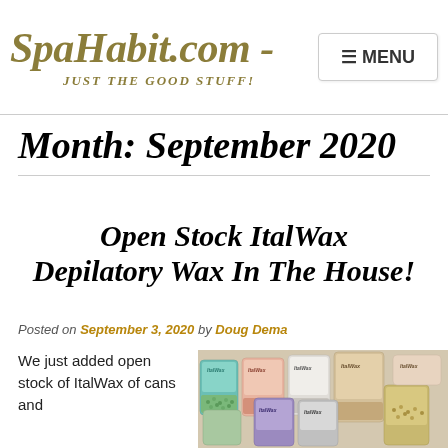SpaHabit.com - JUST THE GOOD STUFF! MENU
Month: September 2020
Open Stock ItalWax Depilatory Wax In The House!
Posted on September 3, 2020 by Doug Dema
We just added open stock of ItalWax of cans and
[Figure (photo): Multiple ItalWax depilatory wax product bags in various colors arranged together]